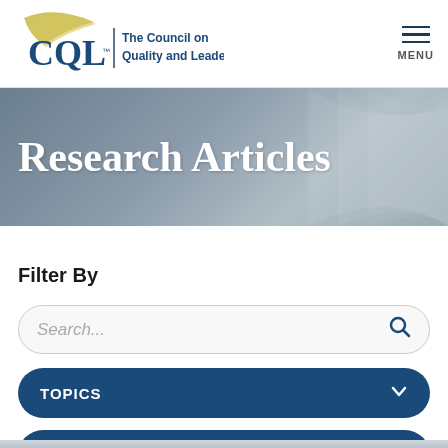[Figure (logo): CQL - The Council on Quality and Leadership logo with gold swoosh and blue text]
MENU
Research Articles
Filter By
Search...
TOPICS
RESOURCE TYPES